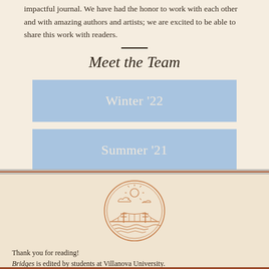impactful journal. We have had the honor to work with each other and with amazing authors and artists; we are excited to be able to share this work with readers.
Meet the Team
Winter '22
Summer '21
[Figure (logo): Circular logo with a bridge, sun, clouds, and water, drawn in an outline style in tan/rust color]
Thank you for reading!
Bridges is edited by students at Villanova University.